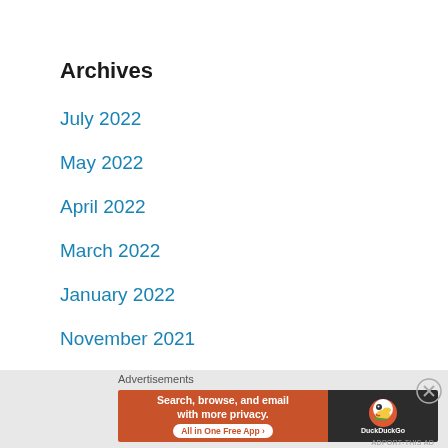Archives
July 2022
May 2022
April 2022
March 2022
January 2022
November 2021
October 2021
June 2021
[Figure (other): DuckDuckGo advertisement banner: 'Search, browse, and email with more privacy. All in One Free App' with DuckDuckGo logo on dark background]